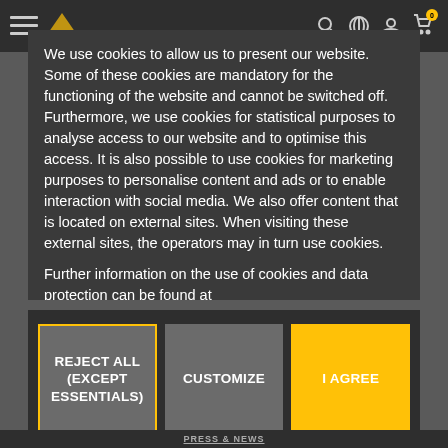We use cookies to allow us to present our website. Some of these cookies are mandatory for the functioning of the website and cannot be switched off. Furthermore, we use cookies for statistical purposes to analyse access to our website and to optimise this access. It is also possible to use cookies for marketing purposes to personalise content and ads or to enable interaction with social media. We also offer content that is located on external sites. When visiting these external sites, the operators may in turn use cookies.
Further information on the use of cookies and data protection can be found at
https://www.jemako.com/en/cookies
as well as
https://www.jemako.com/en/privacy
REJECT ALL (EXCEPT ESSENTIALS)
CUSTOMIZE
I AGREE